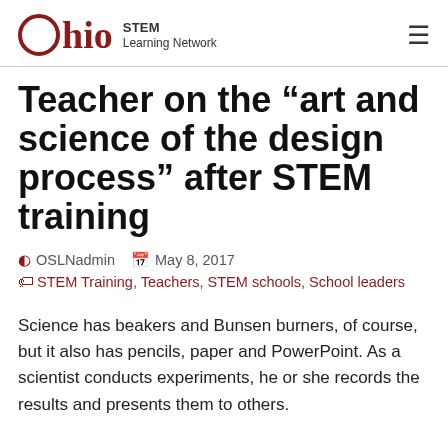Ohio STEM Learning Network
Teacher on the “art and science of the design process” after STEM training
@ OSLNadmin  May 8, 2017
STEM Training, Teachers, STEM schools, School leaders
Science has beakers and Bunsen burners, of course, but it also has pencils, paper and PowerPoint. As a scientist conducts experiments, he or she records the results and presents them to others.